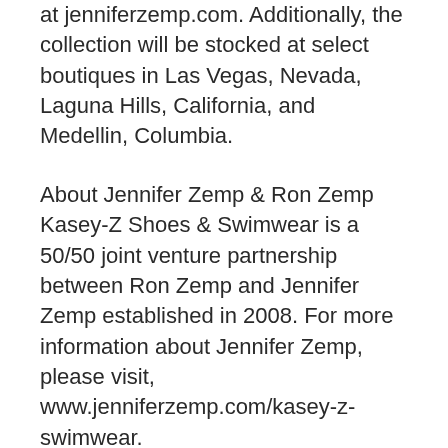at jenniferzemp.com. Additionally, the collection will be stocked at select boutiques in Las Vegas, Nevada, Laguna Hills, California, and Medellin, Columbia.
About Jennifer Zemp & Ron Zemp Kasey-Z Shoes & Swimwear is a 50/50 joint venture partnership between Ron Zemp and Jennifer Zemp established in 2008. For more information about Jennifer Zemp, please visit, www.jenniferzemp.com/kasey-z-swimwear.
www.ronzemp.com
About Kasey-Z Shoes & Swimwear Kasey-Z Shoes & Now Swimwear is a world leader in cutting edge heels. Founded in 2008, Ron Zemp and